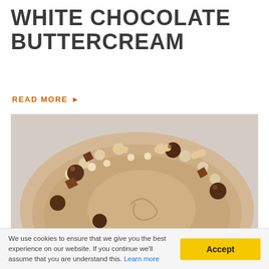WHITE CHOCOLATE BUTTERCREAM
READ MORE ▶
[Figure (photo): Top-down view of a decorated cake with white chocolate buttercream, dusted with cocoa powder, topped with chocolate spheres, rolled wafer pieces, and piped cream rosettes arranged around the edge]
We use cookies to ensure that we give you the best experience on our website. If you continue we'll assume that you are understand this. Learn more